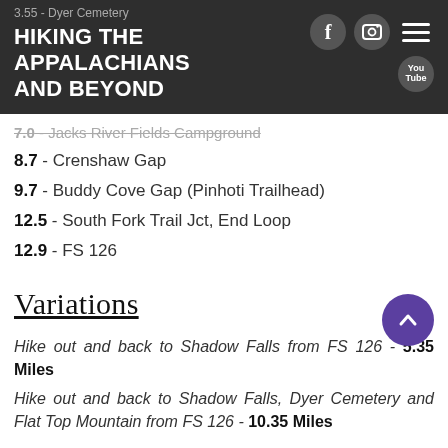HIKING THE APPALACHIANS AND BEYOND
3.55 - Dyer Cemetery (struck through/faded)
7.0 - Jacks River Fields Campground (struck through/faded)
8.7 - Crenshaw Gap
9.7 - Buddy Cove Gap (Pinhoti Trailhead)
12.5 - South Fork Trail Jct, End Loop
12.9 - FS 126
Variations
Hike out and back to Shadow Falls from FS 126 - 5.35 Miles
Hike out and back to Shadow Falls, Dyer Cemetery and Flat Top Mountain from FS 126 - 10.35 Miles